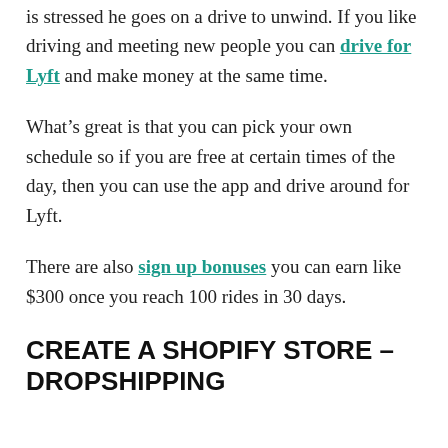is stressed he goes on a drive to unwind. If you like driving and meeting new people you can drive for Lyft and make money at the same time.
What’s great is that you can pick your own schedule so if you are free at certain times of the day, then you can use the app and drive around for Lyft.
There are also sign up bonuses you can earn like $300 once you reach 100 rides in 30 days.
CREATE A SHOPIFY STORE – DROPSHIPPING